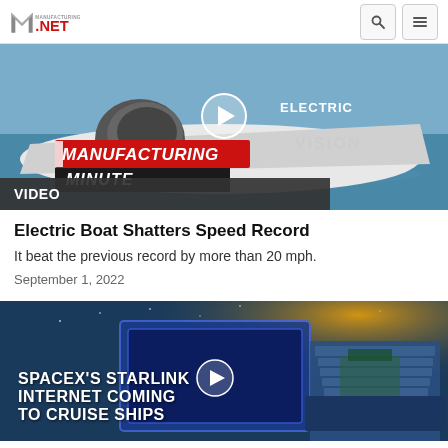Manufacturing.NET
[Figure (screenshot): Manufacturing Minute video thumbnail showing an electric racing boat with text 'MANUFACTURING MINUTE' overlaid, and 'ELECTRIC' and 'VISION' text visible on the boat]
VIDEO
Electric Boat Shatters Speed Record
It beat the previous record by more than 20 mph.
September 1, 2022
[Figure (screenshot): Video thumbnail for SpaceX Starlink story showing a cruise ship at night with text 'SPACEX'S STARLINK INTERNET COMING TO CRUISE SHIPS']